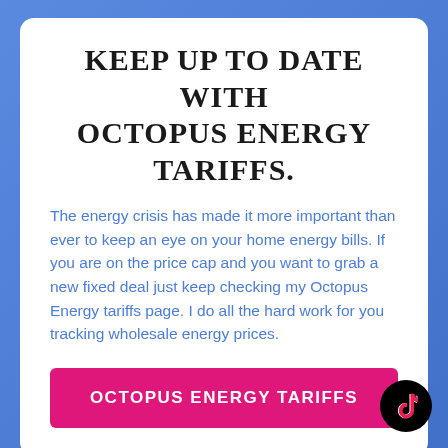KEEP UP TO DATE WITH OCTOPUS ENERGY TARIFFS.
The energy crisis has made it more important than ever to keep an eye on your home energy bills. If you are on the price cap and you want to grab a new fixed deal just keep checking my Octopus Energy tariffs page. I do all the hard work for you tracking wholesale energy prices.
OCTOPUS ENERGY TARIFFS
[Figure (logo): TikTok logo icon — black circle with white TikTok musical note symbol]